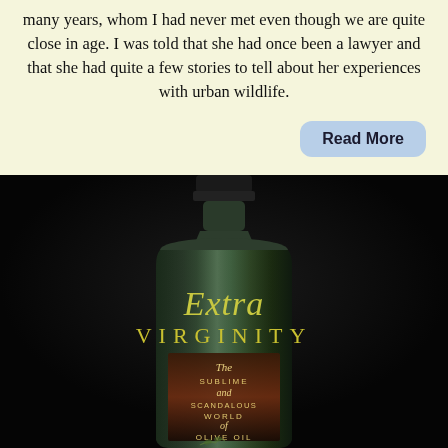many years, whom I had never met even though we are quite close in age. I was told that she had once been a lawyer and that she had quite a few stories to tell about her experiences with urban wildlife.
Read More
[Figure (photo): Book cover photograph of a dark glass bottle labeled 'Extra Virginity: The Sublime and Scandalous World of Olive Oil' against a black background]